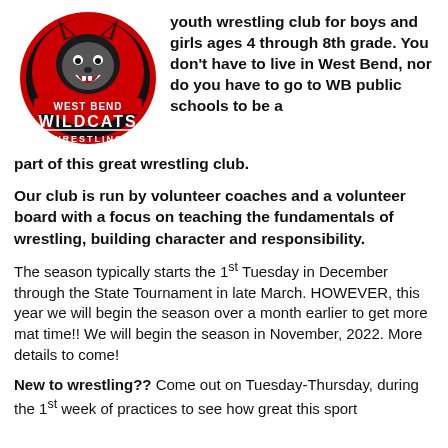[Figure (logo): West Bend Wildcats Wrestling club logo — red and black wildcat mascot with text 'WEST BEND WILDCATS WRESTLING']
youth wrestling club for boys and girls ages 4 through 8th grade.  You don't have to live in West Bend, nor do you have to go to WB public schools to be a part of this great wrestling club.
Our club is run by volunteer coaches and a volunteer board with a focus on teaching the fundamentals of wrestling, building character and responsibility.
The season typically starts the 1st Tuesday in December through the State Tournament in late March.  HOWEVER, this year we will begin the season over a month earlier to get more mat time!! We will begin the season in November, 2022. More details to come!
New to wrestling??  Come out on Tuesday-Thursday, during the 1st week of practices to see how great this sport